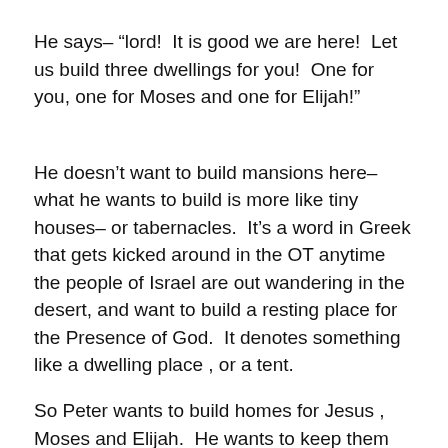He says– “lord!  It is good we are here!  Let us build three dwellings for you!  One for you, one for Moses and one for Elijah!”
He doesn’t want to build mansions here– what he wants to build is more like tiny houses– or tabernacles.  It’s a word in Greek that gets kicked around in the OT anytime the people of Israel are out wandering in the desert, and want to build a resting place for the Presence of God.  It denotes something like a dwelling place , or a tent.
So Peter wants to build homes for Jesus , Moses and Elijah.  He wants to keep them there.  He wants to freeze the moment.  The moment is so overwhelming, so